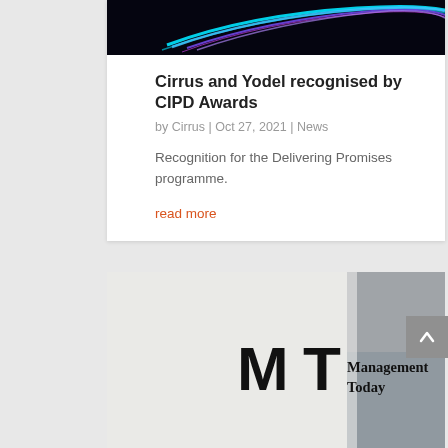[Figure (photo): Dark background with colorful neon light streaks in cyan and purple at top of card]
Cirrus and Yodel recognised by CIPD Awards
by Cirrus | Oct 27, 2021 | News
Recognition for the Delivering Promises programme.
read more
[Figure (photo): Management Today magazine logo on white paper background with a grey corner visible. MT logo with 'Management Today' text in serif font.]